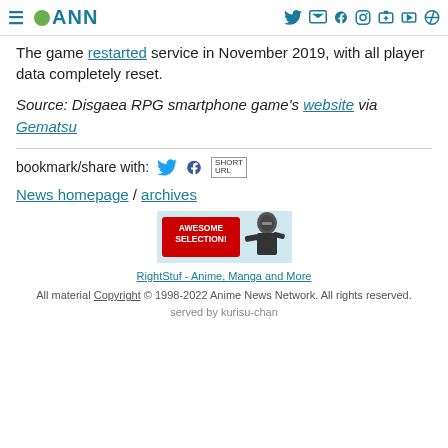ANN (Anime News Network) navigation bar
The game restarted service in November 2019, with all player data completely reset.
Source: Disgaea RPG smartphone game's website via Gematsu
bookmark/share with: [twitter icon] [facebook icon] SHORT URL
News homepage / archives
[Figure (illustration): RightStuf advertisement banner with AWESOME SELECTION! text and ninja character]
RightStuf - Anime, Manga and More
All material Copyright © 1998-2022 Anime News Network. All rights reserved. served by kurisu-chan